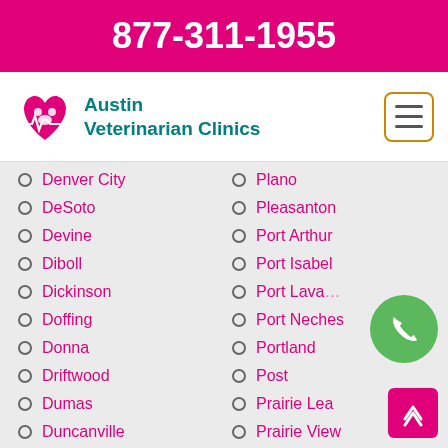877-311-1955
[Figure (logo): Austin Veterinarian Clinics logo with pink heart/paw icon and teal text]
Denver City
Plano
DeSoto
Pleasanton
Devine
Port Arthur
Diboll
Port Isabel
Dickinson
Port Lavaca
Doffing
Port Neches
Donna
Portland
Driftwood
Post
Dumas
Prairie Lea
Duncanville
Prairie View
Eagle Pass
Price
Easton
Primera